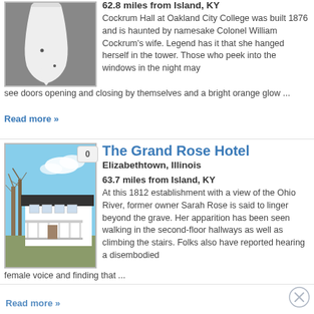62.8 miles from Island, KY
Cockrum Hall at Oakland City College was built 1876 and is haunted by namesake Colonel William Cockrum's wife. Legend has it that she hanged herself in the tower. Those who peek into the windows in the night may see doors opening and closing by themselves and a bright orange glow ...
Read more »
[Figure (photo): Map icon showing silhouette shape in gray background]
The Grand Rose Hotel
Elizabethtown, Illinois
63.7 miles from Island, KY
At this 1812 establishment with a view of the Ohio River, former owner Sarah Rose is said to linger beyond the grave. Her apparition has been seen walking in the second-floor hallways as well as climbing the stairs. Folks also have reported hearing a disembodied female voice and finding that ...
[Figure (photo): Photo of The Grand Rose Hotel, a white two-story building with a porch, bare trees in winter, clear blue sky]
Read more »